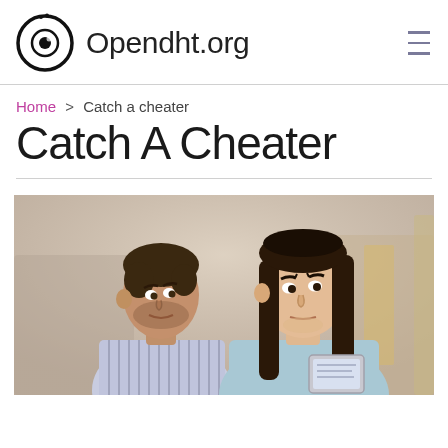Opendht.org
Home > Catch a cheater
Catch A Cheater
[Figure (photo): A man and woman in a tense moment; the woman looks upset and is holding a tablet/phone while the man watches her from behind, indoor background.]